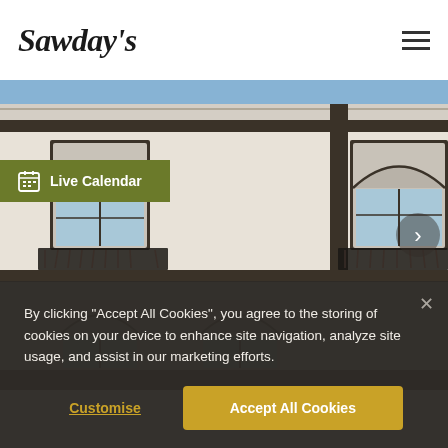Sawday's
[Figure (photo): Exterior photograph of a Portuguese-style building with white and dark trim, arched windows, ornate wrought-iron balconies, and a blue sky background]
Live Calendar
By clicking "Accept All Cookies", you agree to the storing of cookies on your device to enhance site navigation, analyze site usage, and assist in our marketing efforts.
Customise
Accept All Cookies